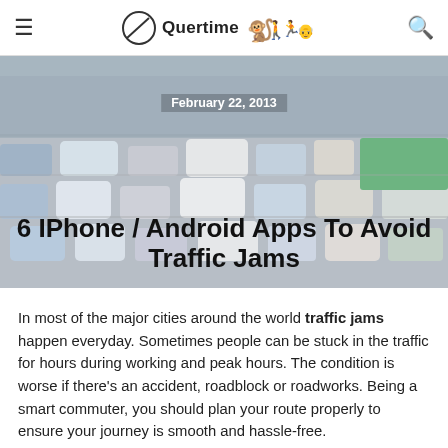≡  Quertime [evolution icons]  🔍
[Figure (photo): Aerial view of a traffic jam with many cars packed on a multi-lane road in a Chinese city]
February 22, 2013
6 IPhone / Android Apps To Avoid Traffic Jams
In most of the major cities around the world traffic jams happen everyday. Sometimes people can be stuck in the traffic for hours during working and peak hours. The condition is worse if there's an accident, roadblock or roadworks. Being a smart commuter, you should plan your route properly to ensure your journey is smooth and hassle-free.